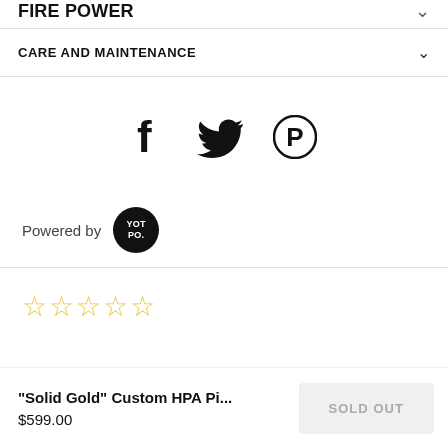FIRE POWER
CARE AND MAINTENANCE
[Figure (illustration): Social media share icons: Facebook (f), Twitter (bird), Pinterest (P in circle)]
Powered by YOTPO.
[Figure (illustration): Five empty star rating icons in gold/yellow outline]
"Solid Gold" Custom HPA Pi...
$599.00
SOLD OUT